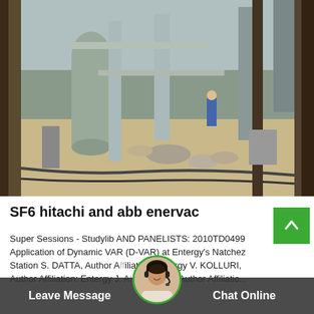[Figure (photo): Industrial electrical substation or switchgear facility with large grey cylindrical equipment, pipes, and a worker in blue visible in the background. Equipment and metal components are scattered on the ground.]
SF6 hitachi and abb enervac
Super Sessions - Studylib AND PANELISTS: 2010TD0499 Application of Dynamic VAR (D-VAR) at Entergy's Natchez Station S. DATTA, Author Affiliation: Entergy V. KOLLURI, Author Affiliation: Entergy J. ALEJANDRE LEON, Author Affiliation...